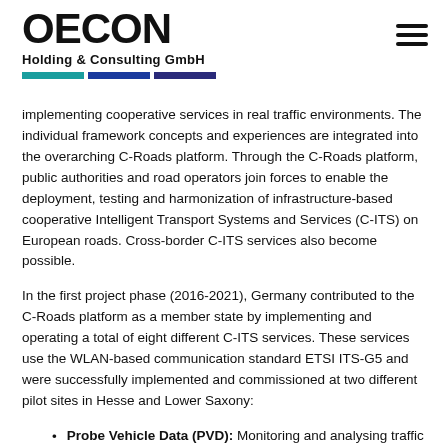OECON Holding & Consulting GmbH
implementing cooperative services in real traffic environments. The individual framework concepts and experiences are integrated into the overarching C-Roads platform. Through the C-Roads platform, public authorities and road operators join forces to enable the deployment, testing and harmonization of infrastructure-based cooperative Intelligent Transport Systems and Services (C-ITS) on European roads. Cross-border C-ITS services also become possible.
In the first project phase (2016-2021), Germany contributed to the C-Roads platform as a member state by implementing and operating a total of eight different C-ITS services. These services use the WLAN-based communication standard ETSI ITS-G5 and were successfully implemented and commissioned at two different pilot sites in Hesse and Lower Saxony:
Probe Vehicle Data (PVD): Monitoring and analysing traffic data through vehicle status data to reach harmonised traffic flow